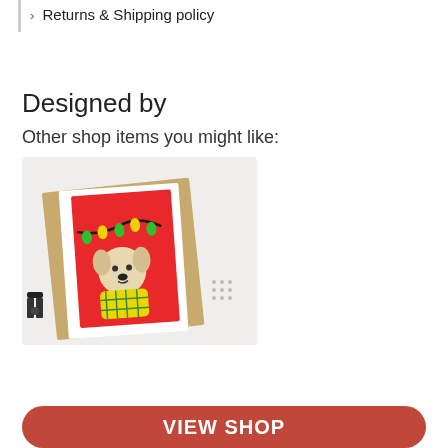Returns & Shipping policy
Designed by
Other shop items you might like:
[Figure (photo): A greeting card featuring a cute dog wearing a yellow sweater with string lights above on a red background, placed on a kraft envelope, on a white wooden surface with a wooden clothespin nearby.]
VIEW SHOP